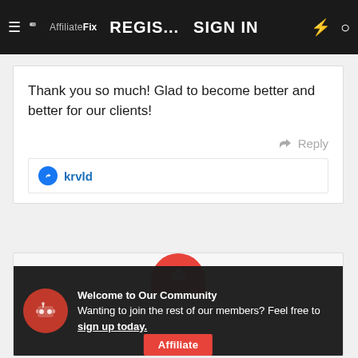AffiliateFix | REGIS... | SIGN IN
Thank you so much! Glad to become better and better for our clients!
↩ Reply
👍 krvld
[Figure (screenshot): Red circular avatar with crown icon at top of second post card]
Welcome to Our Community Wanting to join the rest of our members? Feel free to sign up today.
Affiliate